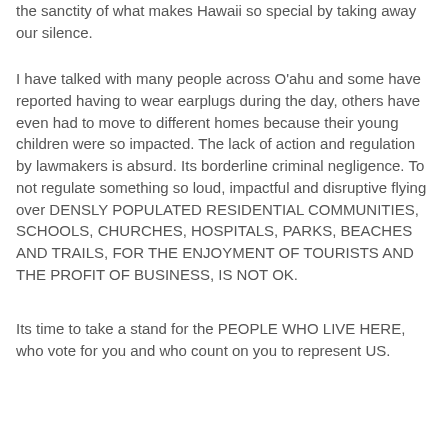the sanctity of what makes Hawaii so special by taking away our silence.
I have talked with many people across O'ahu and some have reported having to wear earplugs during the day, others have even had to move to different homes because their young children were so impacted. The lack of action and regulation by lawmakers is absurd. Its borderline criminal negligence. To not regulate something so loud, impactful and disruptive flying over DENSLY POPULATED RESIDENTIAL COMMUNITIES, SCHOOLS, CHURCHES, HOSPITALS, PARKS, BEACHES AND TRAILS, FOR THE ENJOYMENT OF TOURISTS AND THE PROFIT OF BUSINESS, IS NOT OK.
Its time to take a stand for the PEOPLE WHO LIVE HERE, who vote for you and who count on you to represent US.